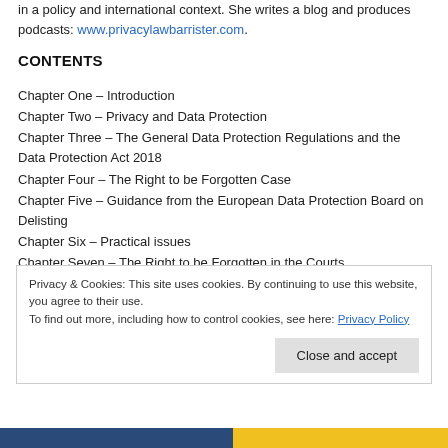in a policy and international context. She writes a blog and produces podcasts: www.privacylawbarrister.com.
CONTENTS
Chapter One – Introduction
Chapter Two – Privacy and Data Protection
Chapter Three – The General Data Protection Regulations and the Data Protection Act 2018
Chapter Four – The Right to be Forgotten Case
Chapter Five – Guidance from the European Data Protection Board on Delisting
Chapter Six – Practical issues
Chapter Seven – The Right to be Forgotten in the Courts
Privacy & Cookies: This site uses cookies. By continuing to use this website, you agree to their use. To find out more, including how to control cookies, see here: Privacy Policy